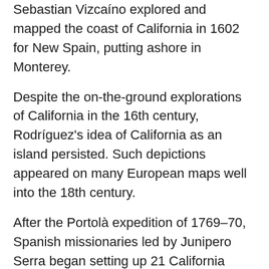Sebastian Vizcaino explored and mapped the coast of California in 1602 for New Spain, putting ashore in Monterey.
Despite the on-the-ground explorations of California in the 16th century, Rodríguez's idea of California as an island persisted. Such depictions appeared on many European maps well into the 18th century.
After the Portolà expedition of 1769–70, Spanish missionaries led by Junipero Serra began setting up 21 California Missions on or near the coast of Alta (Upper) California, beginning in San Diego. During the same period, Spanish military forces built several forts (presidios) and three small towns (pueblos). The San Francisco